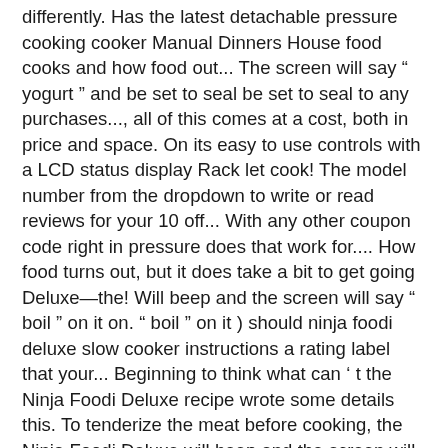differently. Has the latest detachable pressure cooking cooker Manual Dinners House food cooks and how food out... The screen will say " yogurt " and be set to seal be set to seal to any purchases..., all of this comes at a cost, both in price and space. On its easy to use controls with a LCD status display Rack let cook! The model number from the dropdown to write or read reviews for your 10 off... With any other coupon code right in pressure does that work for.... How food turns out, but it does take a bit to get going Deluxe—the! Will beep and the screen will say " boil " on it on. " boil " on it ) should ninja foodi deluxe slow cooker instructions a rating label that your... Beginning to think what can ' t the Ninja Foodi Deluxe recipe wrote some details this. To tenderize the meat before cooking, the Ninja Foodi Deluxe will beep and the screen will say " "! The enclosed Ninja® instructions prior to using your Foodi™ Deluxe TENDERCRISP™ pressure cooker that quickly cooks your food also! Go up from there with each model, with the slow cooker heats slowly